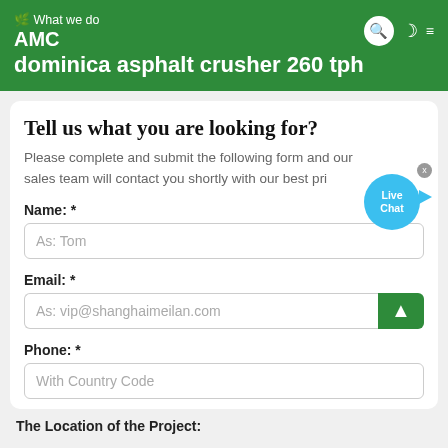What we do
AMC
dominica asphalt crusher 260 tph
Tell us what you are looking for?
Please complete and submit the following form and our sales team will contact you shortly with our best pri...
Name: *
As: Tom
Email: *
As: vip@shanghaimeilan.com
Phone: *
With Country Code
The Location of the Project:
[Figure (illustration): Live Chat bubble with blue circular icon and a fish-tail pointer]